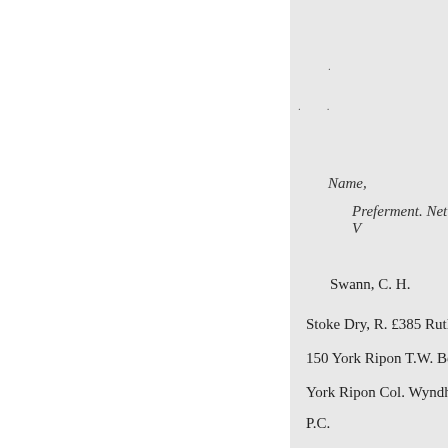.
.  .
- Name,
Preferment. Net V
Swann, C. H.
Stoke Dry, R. £385 Rutland Pe
150 York Ripon T.W. Beaumo
York Ripon Col. Wyndham Tu
P.C.
Wasey, W. G. L.
Qualford, P.C. 59 S
Webster, J. Hinlip, R.